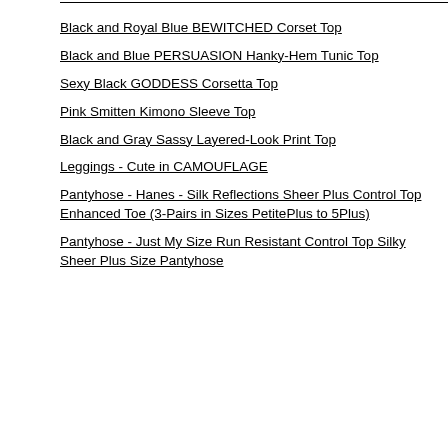Black and Royal Blue BEWITCHED Corset Top
Black and Blue PERSUASION Hanky-Hem Tunic Top
Sexy Black GODDESS Corsetta Top
Pink Smitten Kimono Sleeve Top
Black and Gray Sassy Layered-Look Print Top
Leggings - Cute in CAMOUFLAGE
Pantyhose - Hanes - Silk Reflections Sheer Plus Control Top Enhanced Toe (3-Pairs in Sizes PetitePlus to 5Plus)
Pantyhose - Just My Size Run Resistant Control Top Silky Sheer Plus Size Pantyhose